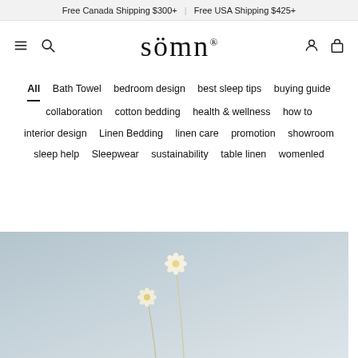Free Canada Shipping $300+ | Free USA Shipping $425+
[Figure (logo): Sömn brand logo with serif font and umlaut over the o]
All
Bath Towel
bedroom design
best sleep tips
buying guide
collaboration
cotton bedding
health & wellness
how to
interior design
Linen Bedding
linen care
promotion
showroom
sleep help
Sleepwear
sustainability
table linen
womenled
[Figure (photo): Light blue-grey background with two delicate white wildflowers on thin stems, soft and minimal composition]